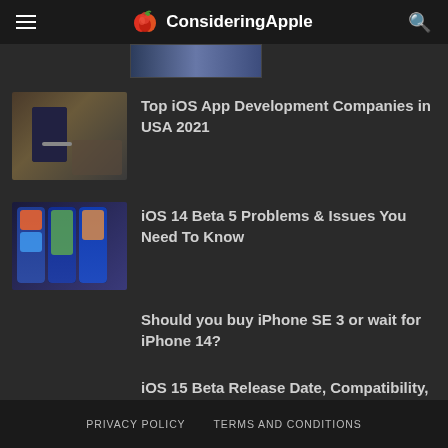ConsideringApple
[Figure (screenshot): Partial thumbnail image of a previous article, cropped at top]
[Figure (photo): iPhone connected to cable on wooden surface thumbnail]
Top iOS App Development Companies in USA 2021
[Figure (photo): Three iPhones showing iOS 14 beta screens thumbnail]
iOS 14 Beta 5 Problems & Issues You Need To Know
Should you buy iPhone SE 3 or wait for iPhone 14?
iOS 15 Beta Release Date, Compatibility, & Features
PRIVACY POLICY   TERMS AND CONDITIONS